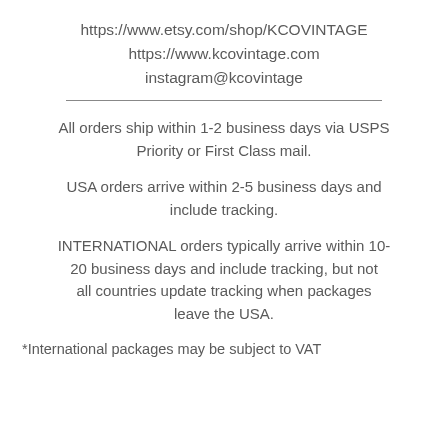https://www.etsy.com/shop/KCOVINTAGE
https://www.kcovintage.com
instagram@kcovintage
All orders ship within 1-2 business days via USPS Priority or First Class mail.
USA orders arrive within 2-5 business days and include tracking.
INTERNATIONAL orders typically arrive within 10-20 business days and include tracking, but not all countries update tracking when packages leave the USA.
*International packages may be subject to VAT